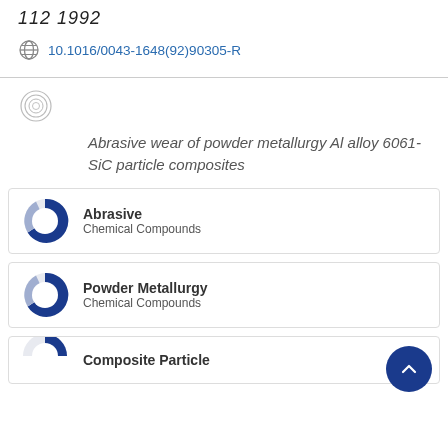112 1992
10.1016/0043-1648(92)90305-R
[Figure (logo): Spiral/copyright icon]
Abrasive wear of powder metallurgy Al alloy 6061-SiC particle composites
Abrasive - Chemical Compounds
Powder Metallurgy - Chemical Compounds
Composite Particle